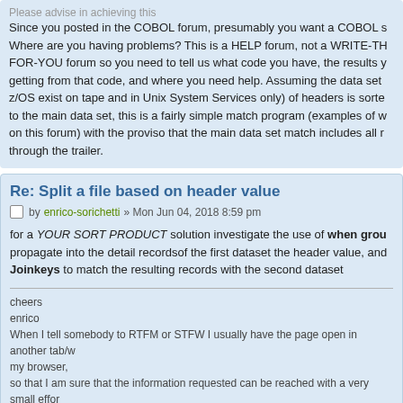Since you posted in the COBOL forum, presumably you want a COBOL s Where are you having problems? This is a HELP forum, not a WRITE-TH FOR-YOU forum so you need to tell us what code you have, the results y getting from that code, and where you need help. Assuming the data set z/OS exist on tape and in Unix System Services only) of headers is sorte to the main data set, this is a fairly simple match program (examples of w on this forum) with the proviso that the main data set match includes all r through the trailer.
Re: Split a file based on header value
by enrico-sorichetti » Mon Jun 04, 2018 8:59 pm
for a YOUR SORT PRODUCT solution investigate the use of when grou propagate into the detail recordsof the first dataset the header value, and Joinkeys to match the resulting records with the second dataset
cheers
enrico
When I tell somebody to RTFM or STFW I usually have the page open in another tab/ my browser,
so that I am sure that the information requested can be reached with a very small effor
Re: Split a file based on header value
by gunex » Mon Jun 04, 2018 9:00 pm